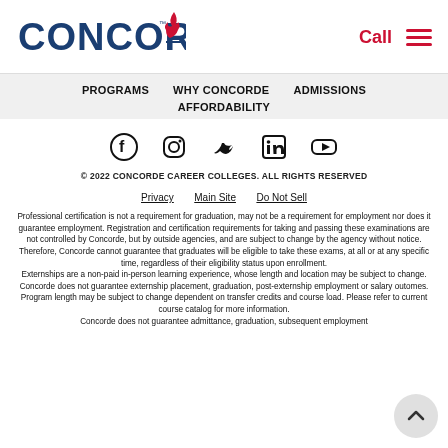[Figure (logo): Concorde Career Colleges logo — blue text 'CONCORDE' with red flame icon]
Call  ≡
PROGRAMS   WHY CONCORDE   ADMISSIONS   AFFORDABILITY
[Figure (infographic): Social media icons: Facebook, Instagram, Twitter, LinkedIn, YouTube]
© 2022 CONCORDE CAREER COLLEGES. ALL RIGHTS RESERVED
Privacy   Main Site   Do Not Sell
Professional certification is not a requirement for graduation, may not be a requirement for employment nor does it guarantee employment. Registration and certification requirements for taking and passing these examinations are not controlled by Concorde, but by outside agencies, and are subject to change by the agency without notice. Therefore, Concorde cannot guarantee that graduates will be eligible to take these exams, at all or at any specific time, regardless of their eligibility status upon enrollment. Externships are a non-paid in-person learning experience, whose length and location may be subject to change. Concorde does not guarantee externship placement, graduation, post-externship employment or salary outcomes. Program length may be subject to change dependent on transfer credits and course load. Please refer to current course catalog for more information. Concorde does not guarantee admittance, graduation, subsequent employment